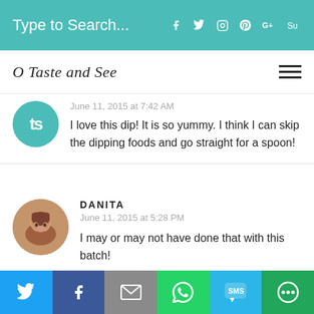Type to Search...
O Taste and See
June 11, 2015 at 7:42 AM
I love this dip! It is so yummy. I think I can skip the dipping foods and go straight for a spoon!
DANITA
June 11, 2015 at 5:28 PM
I may or may not have done that with this batch!